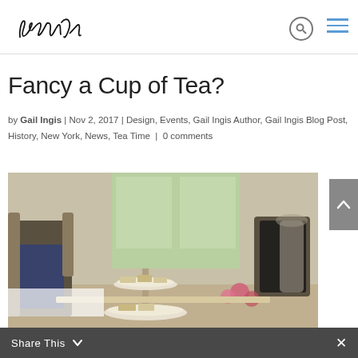Ingis [logo] | search | menu
Fancy a Cup of Tea?
by Gail Ingis | Nov 2, 2017 | Design, Events, Gail Ingis Author, Gail Ingis Blog Post, History, New York, News, Tea Time | 0 comments
[Figure (photo): Afternoon tea setting in an elegant room with a tiered cake stand holding sandwiches and pastries, ornate chairs, and pink flowers visible on a table.]
Share This